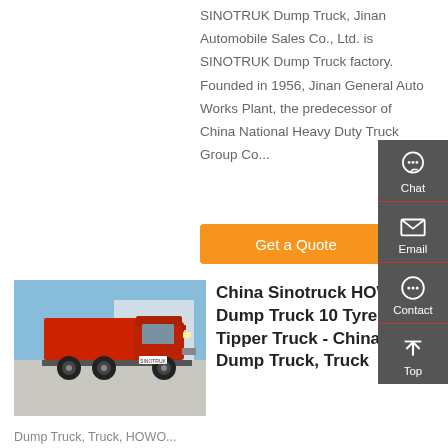SINOTRUK Dump Truck, Jinan Automobile Sales Co., Ltd. is SINOTRUK Dump Truck factory. Founded in 1956, Jinan General Auto Works Plant, the predecessor of China National Heavy Duty Truck Group Co...
[Figure (other): Orange 'Get a Quote' button]
[Figure (photo): Photo of a red Sinotruck HOWO dump truck (6x4 tipper) parked in a yard under a blue sky]
China Sinotruck HOWO Dump Truck 10 Tyres 6X4 Tipper Truck - China Dump Truck, Truck
Dump Truck, Truck, HOWO...